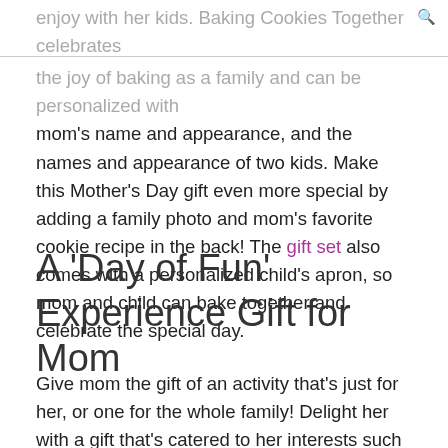enjoy with her kids. Baking Cookies Together celebrates the joy of baking as a family and can be personalized with mom's name and appearance, and the names and appearance of two kids. Make this Mother's Day gift even more special by adding a family photo and mom's favorite cookie recipe in the back! The gift set also comes with a personalized child's apron, so mom and child can bake together and celebrate the special day.
A 'Day of Fun' Experience Gift for Mom
Give mom the gift of an activity that's just for her, or one for the whole family! Delight her with a gift that's catered to her interests such as tickets to a sporting event or show, a cooking class, massage spa day, wine tasting, boat dinner cruise, or an escape room adventure. Continue the